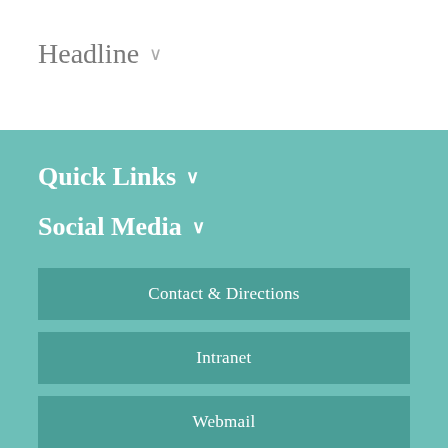Headline ∨
Quick Links ∨
Social Media ∨
Contact & Directions
Intranet
Webmail
eResources – Journals
Helpdesk